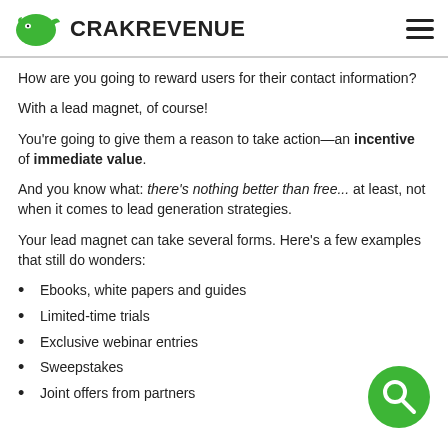CRAKREVENUE
How are you going to reward users for their contact information?
With a lead magnet, of course!
You're going to give them a reason to take action—an incentive of immediate value.
And you know what: there's nothing better than free... at least, not when it comes to lead generation strategies.
Your lead magnet can take several forms. Here's a few examples that still do wonders:
Ebooks, white papers and guides
Limited-time trials
Exclusive webinar entries
Sweepstakes
Joint offers from partners